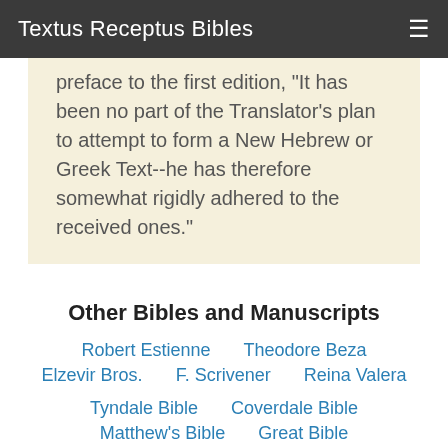Textus Receptus Bibles
preface to the first edition, "It has been no part of the Translator's plan to attempt to form a New Hebrew or Greek Text--he has therefore somewhat rigidly adhered to the received ones."
Other Bibles and Manuscripts
Robert Estienne
Theodore Beza
Elzevir Bros.
F. Scrivener
Reina Valera
Tyndale Bible
Coverdale Bible
Matthew's Bible
Great Bible
Bishops Bible
King James 1611